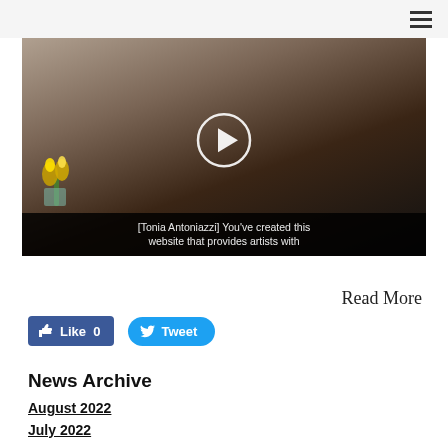[Figure (screenshot): Video thumbnail showing a person with yellow flowers in the background and a picture frame on the wall. A play button circle overlay is visible. Subtitle reads: [Tonia Antoniazzi] You've created this website that provides artists with]
Read More
[Figure (infographic): Like button showing 'Like 0' in Facebook blue, and a Tweet button in Twitter blue]
News Archive
August 2022
July 2022